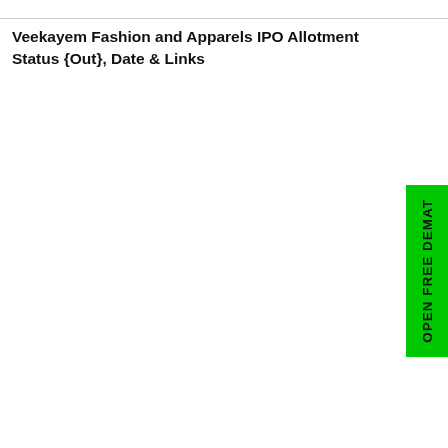Veekayem Fashion and Apparels IPO Allotment Status {Out}, Date & Links
[Figure (other): Green vertical banner with text 'OPEN FREE DEMAT' written vertically]